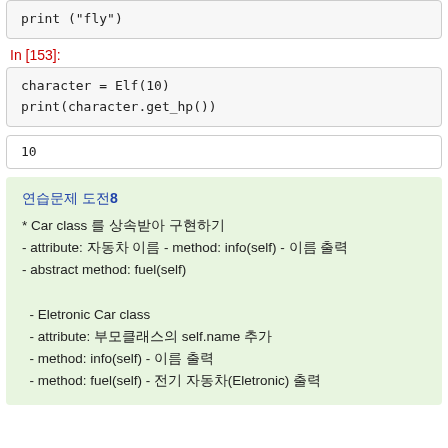print ("fly")
In [153]:
character = Elf(10)
print(character.get_hp())
10
연습문제 도전8
* Car class 를 상속받아 구현하기
- attribute: 자동차 이름 - method: info(self) - 이름 출력
- abstract method: fuel(self)

  - Eletronic Car class
  - attribute: 부모클래스의 self.name 추가
  - method: info(self) - 이름 출력
  - method: fuel(self) - 전기 자동차(Eletronic) 출력